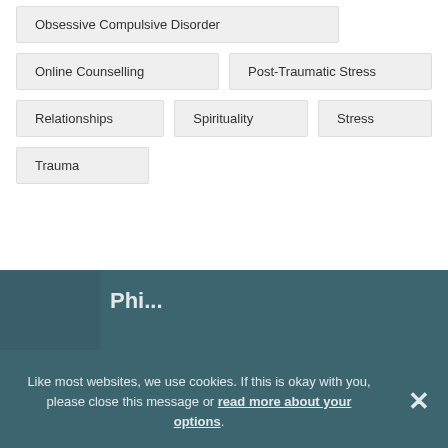Obsessive Compulsive Disorder
Online Counselling
Post-Traumatic Stress
Relationships
Spirituality
Stress
Trauma
Phi...
Like most websites, we use cookies. If this is okay with you, please close this message or read more about your options.